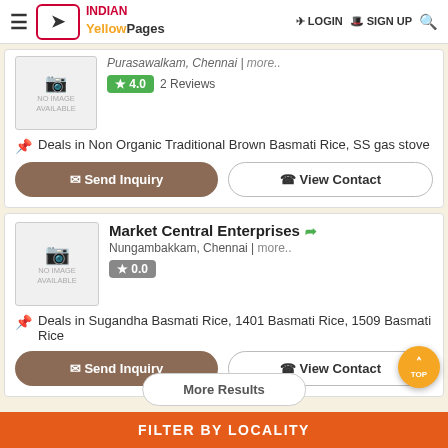Indian Yellow Pages — LOGIN | SIGN UP
Purasawalkam, Chennai | more..
★ 4.0  2 Reviews
Deals in Non Organic Traditional Brown Basmati Rice, SS gas stove
Send Inquiry | View Contact
Market Central Enterprises
Nungambakkam, Chennai | more..
★ 0.0
Deals in Sugandha Basmati Rice, 1401 Basmati Rice, 1509 Basmati Rice
Send Inquiry | View Contact
FILTER BY LOCALITY